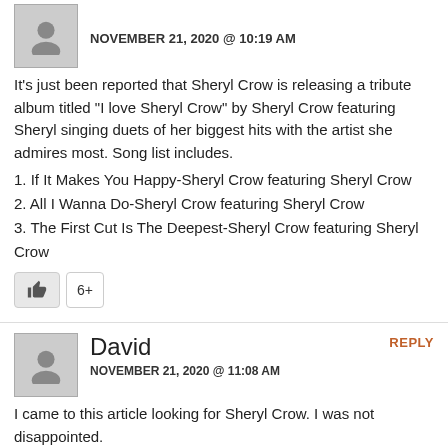NOVEMBER 21, 2020 @ 10:19 AM
It's just been reported that Sheryl Crow is releasing a tribute album titled “I love Sheryl Crow” by Sheryl Crow featuring Sheryl singing duets of her biggest hits with the artist she admires most. Song list includes.
1. If It Makes You Happy-Sheryl Crow featuring Sheryl Crow
2. All I Wanna Do-Sheryl Crow featuring Sheryl Crow
3. The First Cut Is The Deepest-Sheryl Crow featuring Sheryl Crow
Like: 6+
David
NOVEMBER 21, 2020 @ 11:08 AM
REPLY
I came to this article looking for Sheryl Crow. I was not disappointed.
Like: 5+
Kevin Smith
NOVEMBER 21, 2020 @ 11:19 AM
REPLY
Better options than Sheryl Crow and Margo Price: